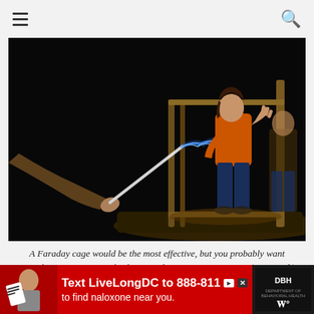Navigation header with hamburger menu and search icon
[Figure (photo): A woman in an orange top standing inside a Faraday cage with a blue lightning arc striking toward her raised hand from a white rod held by someone off-screen left. Dark background, dramatic electric discharge visible.]
A Faraday cage would be the most effective, but you probably want something more practical. Photo Credit: Antoine Taveneaux (Own work) [CC
[Figure (screenshot): Advertisement banner at the bottom: red background with text 'Text LiveLongDC to 888-811 to find naloxone near you.' with logos and a close button.]